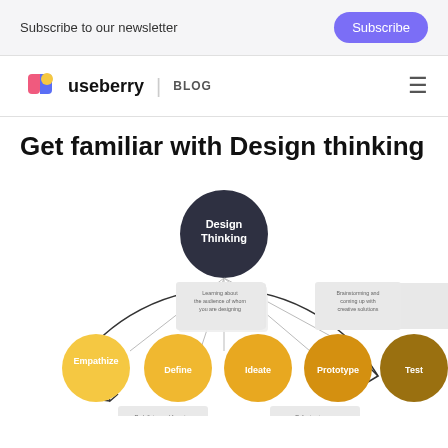Subscribe to our newsletter
useberry | BLOG
Get familiar with Design thinking
[Figure (infographic): Design Thinking circular diagram showing five stages: Empathize, Define, Ideate, Prototype, Test. A large dark circle labeled 'Design Thinking' sits at the top center. Five colored circles (yellow shades) represent each stage arranged in a row. Description boxes appear above/below each stage. A large circular arrow connects all stages.]